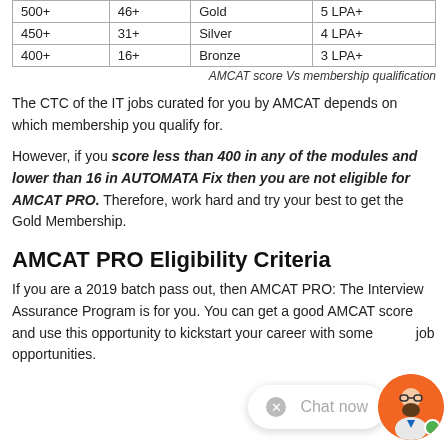|  |  |  |  |
| --- | --- | --- | --- |
| 500+ | 46+ | Gold | 5 LPA+ |
| 450+ | 31+ | Silver | 4 LPA+ |
| 400+ | 16+ | Bronze | 3 LPA+ |
AMCAT score Vs membership qualification
The CTC of the IT jobs curated for you by AMCAT depends on which membership you qualify for.
However, if you score less than 400 in any of the modules and lower than 16 in AUTOMATA Fix then you are not eligible for AMCAT PRO. Therefore, work hard and try your best to get the Gold Membership.
AMCAT PRO Eligibility Criteria
If you are a 2019 batch pass out, then AMCAT PRO: The Interview Assurance Program is for you. You can get a good AMCAT score and use this opportunity to kickstart your career with some good job opportunities.